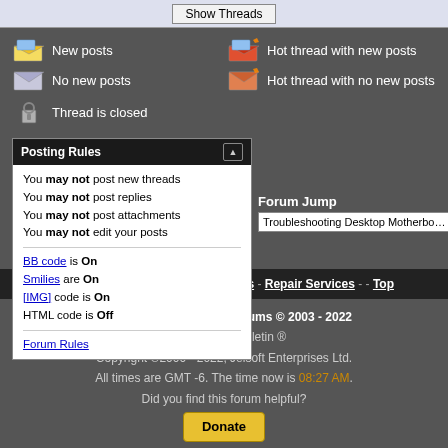[Figure (screenshot): Show Threads button in a light bar at top]
New posts
Hot thread with new posts
No new posts
Hot thread with no new posts
Thread is closed
| Posting Rules |
| You may not post new threads |
| You may not post replies |
| You may not post attachments |
| You may not edit your posts |
| BB code is On |
| Smilies are On |
| [IMG] code is On |
| HTML code is Off |
| Forum Rules |
Forum Jump
Troubleshooting Desktop Motherboards, Gr
Badcaps.net Home - Capacitor Kits - Repair Services - - Top
Badcaps.net Technical Forums © 2003 - 2022
Powered by vBulletin ®
Copyright ©2000 - 2022, Jelsoft Enterprises Ltd.
All times are GMT -6. The time now is 08:27 AM.
Did you find this forum helpful?